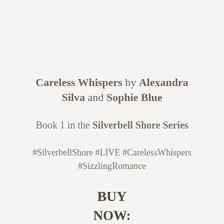Careless Whispers by Alexandra Silva and Sophie Blue
Book 1 in the Silverbell Shore Series
#SilverbellShore #LIVE #CarelessWhispers #SizzlingRomance
BUY
NOW: https://geni.us/carelesswhisperac